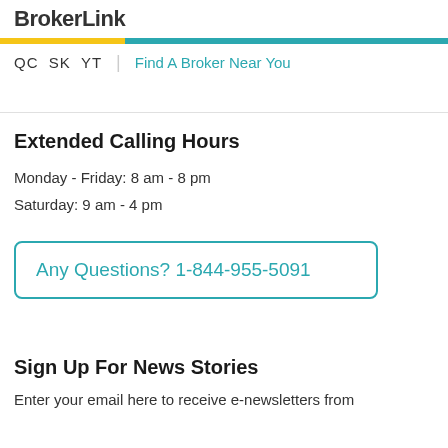BrokerLink
QC  SK  YT  |  Find A Broker Near You
Extended Calling Hours
Monday - Friday: 8 am - 8 pm
Saturday: 9 am - 4 pm
Any Questions? 1-844-955-5091
Sign Up For News Stories
Enter your email here to receive e-newsletters from